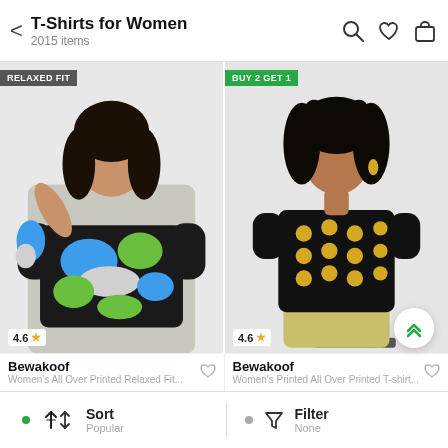T-Shirts for Women — 2015 items
[Figure (photo): Two product photos side by side. Left: woman wearing colorful abstract print relaxed fit t-shirt, badge says RELAXED FIT, rating 4.6. Right: woman wearing black t-shirt with gold polka dot print and yellow shorts, badge says BUY 2 GET 1, rating 4.6.]
Bewakoof
Bewakoof
Sort Popular | Filter None